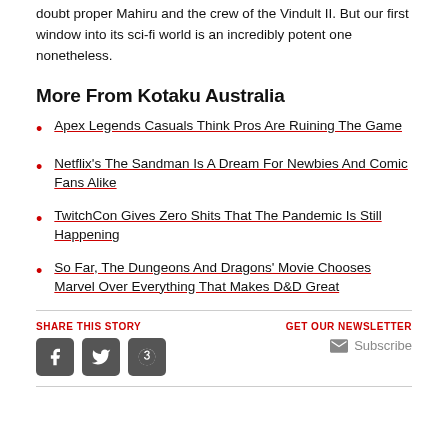doubt proper Mahiru and the crew of the Vindult II. But our first window into its sci-fi world is an incredibly potent one nonetheless.
More From Kotaku Australia
Apex Legends Casuals Think Pros Are Ruining The Game
Netflix's The Sandman Is A Dream For Newbies And Comic Fans Alike
TwitchCon Gives Zero Shits That The Pandemic Is Still Happening
So Far, The Dungeons And Dragons' Movie Chooses Marvel Over Everything That Makes D&D Great
SHARE THIS STORY
GET OUR NEWSLETTER
Subscribe